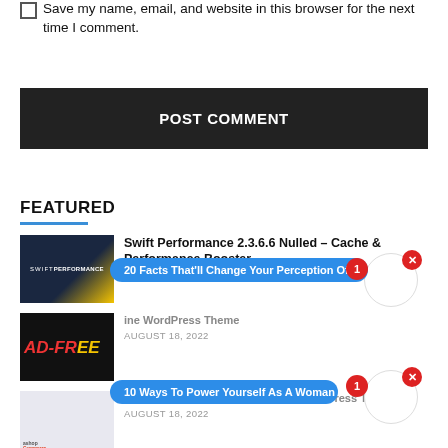Save my name, email, and website in this browser for the next time I comment.
POST COMMENT
FEATURED
[Figure (screenshot): Swift Performance thumbnail – dark blue and yellow gradient with 'SWIFT PERFORMANCE' text]
Swift Performance 2.3.6.6 Nulled – Cache & Performance Booster
AUGUST 19, 2022
[Figure (screenshot): AD-FREE MODE thumbnail – black background with red italic text]
... ine WordPress Theme
AUGUST 18, 2022
[Figure (screenshot): Shopashop WooCommerce theme thumbnail]
... ve Multi-Purpose WooCommerce WordPress Theme
AUGUST 18, 2022